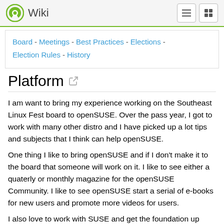Wiki
Board - Meetings - Best Practices - Elections - Election Rules - History
Platform
I am want to bring my experience working on the Southeast Linux Fest board to openSUSE. Over the pass year, I got to work with many other distro and I have picked up a lot tips and subjects that I think can help openSUSE.
One thing I like to bring openSUSE and if I don't make it to the board that someone will work on it. I like to see either a quaterly or monthly magazine for the openSUSE Community. I like to see openSUSE start a serial of e-books for new users and promote more videos for users.
I also love to work with SUSE and get the foundation up